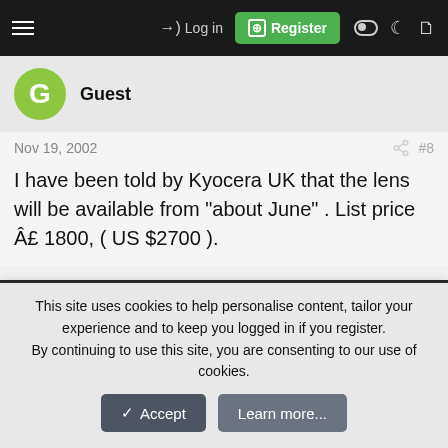≡  →) Log in  [+] Register
Guest
Nov 19, 2002  #8
I have been told by Kyocera UK that the lens will be available from "about June" . List price Â£ 1800, ( US $2700 ).
Guest
Nov 23, 2002  #9
This site uses cookies to help personalise content, tailor your experience and to keep you logged in if you register.
By continuing to use this site, you are consenting to our use of cookies.